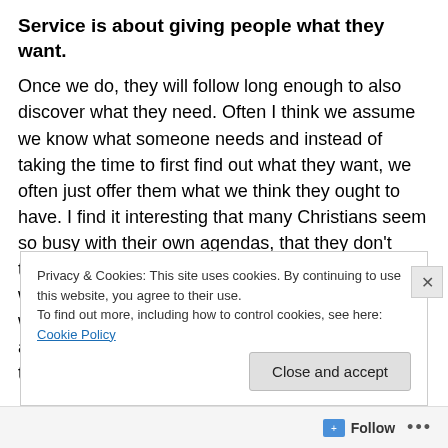Service is about giving people what they want.
Once we do, they will follow long enough to also discover what they need. Often I think we assume we know what someone needs and instead of taking the time to first find out what they want, we often just offer them what we think they ought to have. I find it interesting that many Christians seem so busy with their own agendas, that they don't take time out to ask those they serve, “What do you want from me?” There are leaders who will tell you without blinking, “I already know what you need, and don’t have time to worry about what it is you think you want; so sit
Privacy & Cookies: This site uses cookies. By continuing to use this website, you agree to their use.
To find out more, including how to control cookies, see here: Cookie Policy
Follow •••